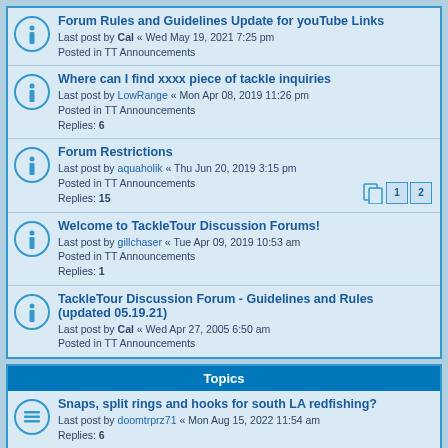Forum Rules and Guidelines Update for youTube Links
Last post by Cal « Wed May 19, 2021 7:25 pm
Posted in TT Announcements
Where can I find xxxx piece of tackle inquiries
Last post by LowRange « Mon Apr 08, 2019 11:26 pm
Posted in TT Announcements
Replies: 6
Forum Restrictions
Last post by aquaholik « Thu Jun 20, 2019 3:15 pm
Posted in TT Announcements
Replies: 15
Welcome to TackleTour Discussion Forums!
Last post by gillchaser « Tue Apr 09, 2019 10:53 am
Posted in TT Announcements
Replies: 1
TackleTour Discussion Forum - Guidelines and Rules (updated 05.19.21)
Last post by Cal « Wed Apr 27, 2005 6:50 am
Posted in TT Announcements
Topics
Snaps, split rings and hooks for south LA redfishing?
Last post by doomtrprz71 « Mon Aug 15, 2022 11:54 am
Replies: 6
Inshore casting setups
Last post by John2204 « Tue Jul 05, 2022 3:43 am
Replies: 10